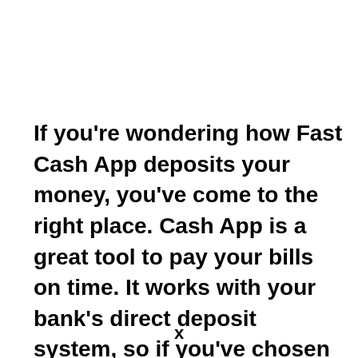If you're wondering how Fast Cash App deposits your money, you've come to the right place. Cash App is a great tool to pay your bills on time. It works with your bank's direct deposit system, so if you've chosen this option, the funds should hit your account within one to five business...